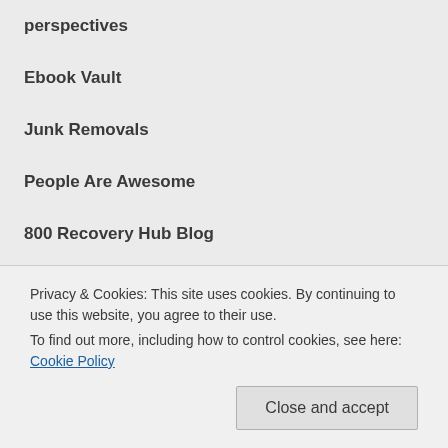perspectives
Ebook Vault
Junk Removals
People Are Awesome
800 Recovery Hub Blog
Cricket Vikas
The Words Kraft
blogging on blog
Privacy & Cookies: This site uses cookies. By continuing to use this website, you agree to their use.
To find out more, including how to control cookies, see here: Cookie Policy
Close and accept